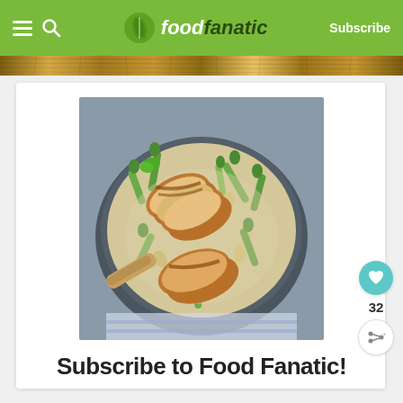foodfanatic — Subscribe
[Figure (photo): Banner strip with wood/texture pattern]
[Figure (photo): Food photo: a skillet pan with creamy pasta (fusilli), asparagus, and sliced seared chicken breast with a wooden spoon]
32
Subscribe to Food Fanatic!